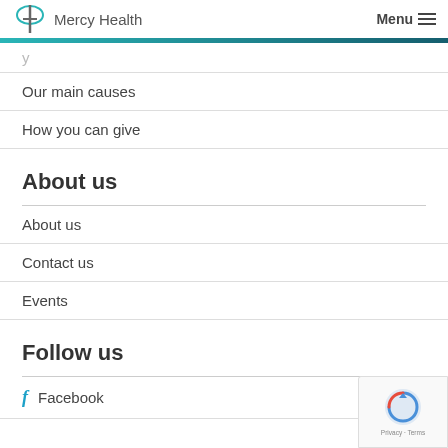Mercy Health  Menu
Our main causes
How you can give
About us
About us
Contact us
Events
Follow us
Facebook